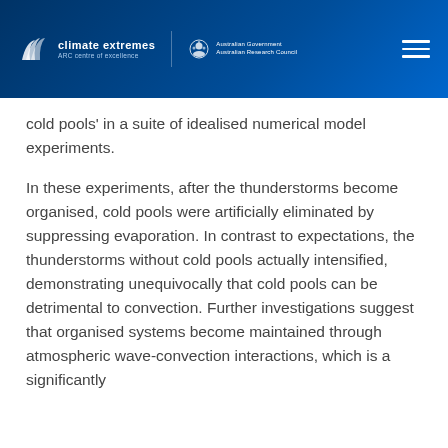climate extremes ARC centre of excellence | Australian Government Australian Research Council
cold pools' in a suite of idealised numerical model experiments.
In these experiments, after the thunderstorms become organised, cold pools were artificially eliminated by suppressing evaporation. In contrast to expectations, the thunderstorms without cold pools actually intensified, demonstrating unequivocally that cold pools can be detrimental to convection. Further investigations suggest that organised systems become maintained through atmospheric wave-convection interactions, which is a significantly